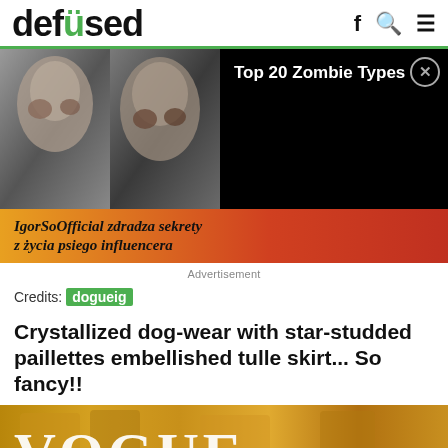defused
[Figure (screenshot): Advertisement banner showing zombie images with 'Top 20 Zombie Types' text and a sub-banner with Polish text 'IgorSoOfficial zdradza sekrety z życia psiego influencera']
Advertisement
Credits: dogueig
Crystallized dog-wear with star-studded paillettes embellished tulle skirt... So fancy!!
[Figure (photo): Bottom portion of a Vogue magazine cover with golden/bronze tones and large white VOGUE text]